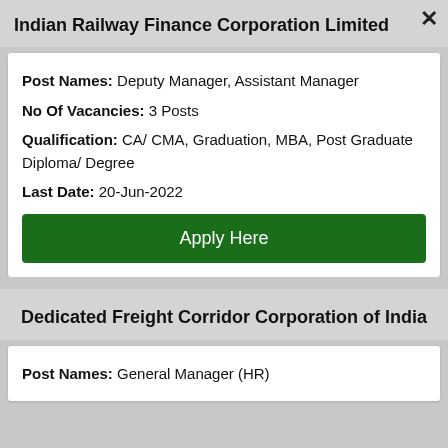Indian Railway Finance Corporation Limited
Post Names: Deputy Manager, Assistant Manager
No Of Vacancies: 3 Posts
Qualification: CA/ CMA, Graduation, MBA, Post Graduate Diploma/ Degree
Last Date: 20-Jun-2022
Apply Here
Dedicated Freight Corridor Corporation of India
Post Names: General Manager (HR)